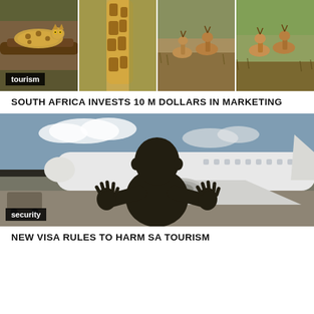[Figure (photo): Safari wildlife collage: leopard on tree, giraffe neck, impalas grazing in grass, more impalas]
tourism
SOUTH AFRICA INVESTS 10 M DOLLARS IN MARKETING
[Figure (photo): Child silhouette pressing hands against airport window with aircraft visible outside]
security
NEW VISA RULES TO HARM SA TOURISM